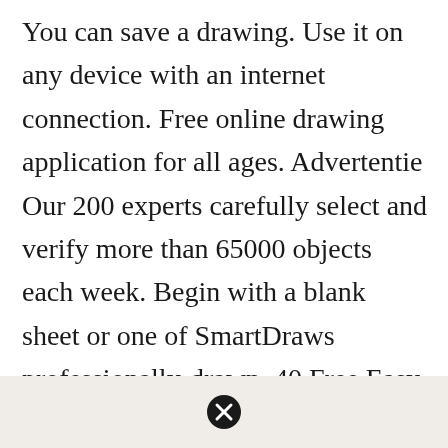You can save a drawing. Use it on any device with an internet connection. Free online drawing application for all ages. Advertentie Our 200 experts carefully select and verify more than 65000 objects each week. Begin with a blank sheet or one of SmartDraws professionally-drawn. 40 Free Easy Animal Sketch Drawing Ideas Inspiration Brighter Craft Animal Sketches Realistic Animal Drawings Deer Drawing.
[Figure (other): Light beige/grey panel at the bottom of the page containing a black circle with an X (close button icon)]